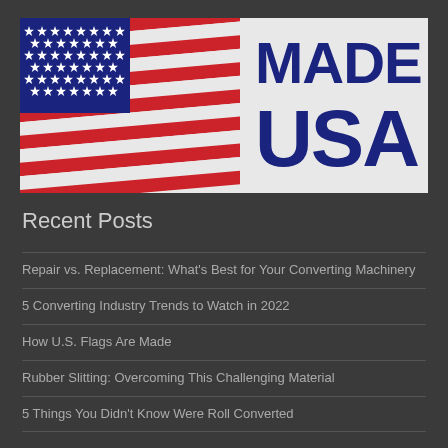[Figure (logo): Made in USA banner with American flag graphic on the left side and bold dark blue text 'MADE IN USA' on the right side, on a light gray background]
Recent Posts
Repair vs. Replacement: What's Best for Your Converting Machinery
5 Converting Industry Trends to Watch in 2022
How U.S. Flags Are Made
Rubber Slitting: Overcoming This Challenging Material
5 Things You Didn't Know Were Roll Converted